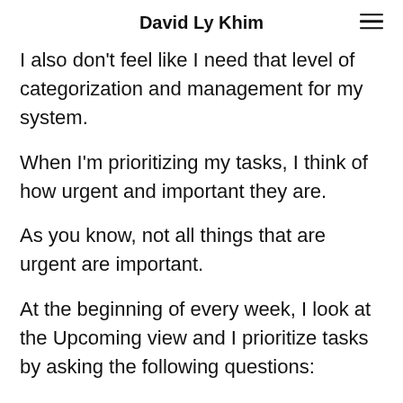David Ly Khim
I also don't feel like I need that level of categorization and management for my system.
When I'm prioritizing my tasks, I think of how urgent and important they are.
As you know, not all things that are urgent are important.
At the beginning of every week, I look at the Upcoming view and I prioritize tasks by asking the following questions: